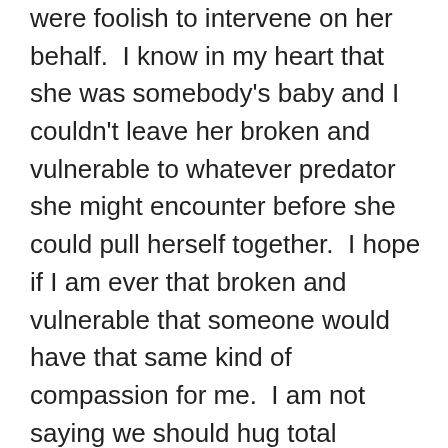were foolish to intervene on her behalf.  I know in my heart that she was somebody's baby and I couldn't leave her broken and vulnerable to whatever predator she might encounter before she could pull herself together.  I hope if I am ever that broken and vulnerable that someone would have that same kind of compassion for me.  I am not saying we should hug total strangers on a regular basis, and you definitely need to be careful who you invite into your home.  What I am saying is use your best judgment.
 Sometimes a hug and a phone call can change someone's life, and for us that day it was worth getting involved. There are so many